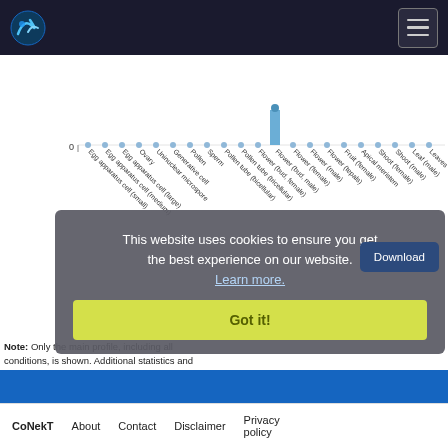[Figure (bar-chart): Gene expression profile across tissues]
Note: Only the main profile, including all conditions, is shown. Additional statistics and tissue specific profiles are available here.
[Figure (screenshot): Cookie consent overlay: 'This website uses cookies to ensure you get the best experience on our website. Learn more.' with Download and Got it! buttons.]
CoNekT  About  Contact  Disclaimer  Privacy policy